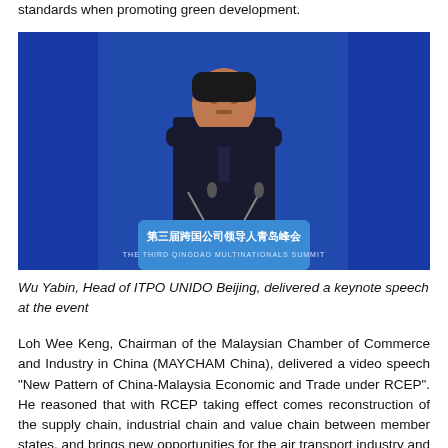standards when promoting green development.
[Figure (photo): Wu Yabin, Head of ITPO UNIDO Beijing, speaking at a podium at the Third Qingdao Multinationals Summit. He is wearing a dark suit and tie against a blue background. The podium displays Chinese text '第三届跨国公司领导人青岛峰会' and below it 'THE THIRD QINGDAO MULTINATIONALS SUMMIT'.]
Wu Yabin, Head of ITPO UNIDO Beijing, delivered a keynote speech at the event
Loh Wee Keng, Chairman of the Malaysian Chamber of Commerce and Industry in China (MAYCHAM China), delivered a video speech "New Pattern of China-Malaysia Economic and Trade under RCEP". He reasoned that with RCEP taking effect comes reconstruction of the supply chain, industrial chain and value chain between member states, and brings new opportunities for the air transport industry and the digital economy. At the